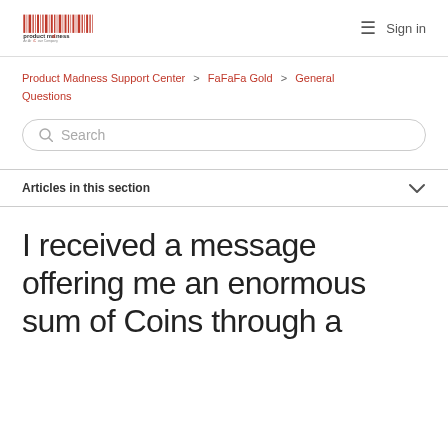Product Madness logo | Sign in
Product Madness Support Center > FaFaFa Gold > General Questions
Search
Articles in this section
I received a message offering me an enormous sum of Coins through a